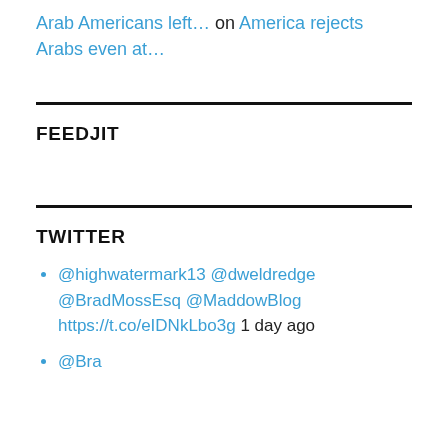Arab Americans left… on America rejects Arabs even at…
FEEDJIT
TWITTER
@highwatermark13 @dweldredge @BradMossEsq @MaddowBlog https://t.co/eIDNkLbo3g 1 day ago